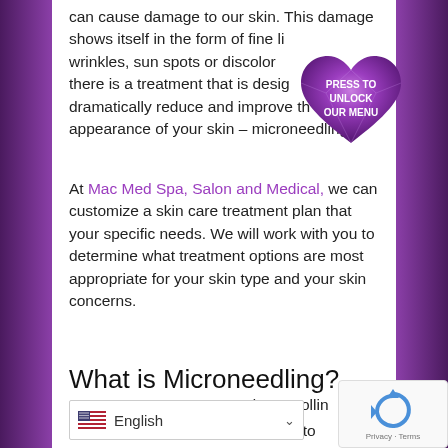can cause damage to our skin. This damage shows itself in the form of fine lines, wrinkles, sun spots or discoloration, there is a treatment that is designed to dramatically reduce and improve the appearance of your skin – microneedling.
[Figure (illustration): Purple heart-shaped gemstone/crystal overlay with white bold text reading 'PRESS TO UNLOCK OUR MENU']
At Mac Med Spa, Salon and Medical, we can customize a skin care treatment plan that your specific needs. We will work with you to determine what treatment options are most appropriate for your skin type and your skin concerns.
What is Microneedling?
own as derma rolling
es thin needles to
[Figure (other): Language selector dropdown showing English with US flag. reCAPTCHA badge with Privacy and Terms links.]